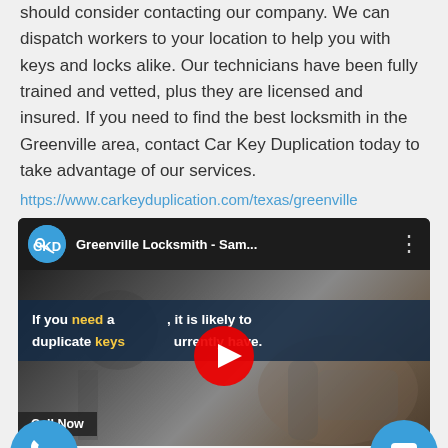should consider contacting our company. We can dispatch workers to your location to help you with keys and locks alike. Our technicians have been fully trained and vetted, plus they are licensed and insured. If you need to find the best locksmith in the Greenville area, contact Car Key Duplication today to take advantage of our services.
https://www.carkeyduplication.com/texas/greenville
[Figure (screenshot): YouTube video embed showing 'Greenville Locksmith - Sam...' with a locksmith machine background and text overlay: 'If you need a [locksmith], it is likely to duplicate keys [you] currently have.' Play button visible. Call Now badge at bottom left. Phone button and chat button overlaid.]